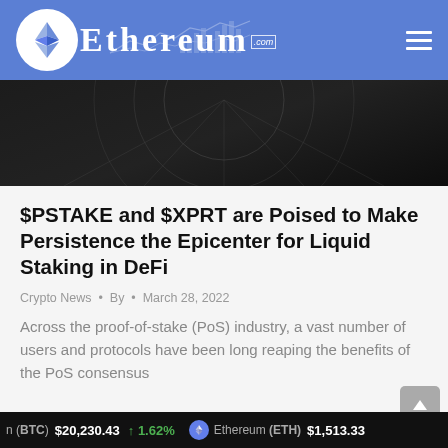Ethereum.com
[Figure (screenshot): Dark hero image with geometric web/spider pattern overlay]
$PSTAKE and $XPRT are Poised to Make Persistence the Epicenter for Liquid Staking in DeFi
Crypto News • By • March 28, 2022
Across the proof-of-stake (PoS) industry, a vast number of users and protocols have been long reaping the benefits of the PoS consensus
n (BTC) $20,230.43 ↑ 1.62% Ethereum (ETH) $1,513.33